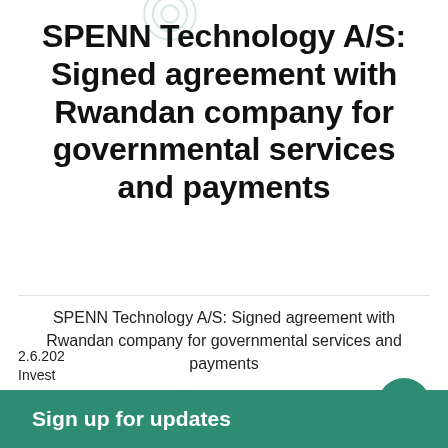SPENN Technology A/S: Signed agreement with Rwandan company for governmental services and payments
SPENN Technology A/S: Signed agreement with Rwandan company for governmental services and payments
By ritzau  June 2, 2022
2.6.202
Invest
Sign up for updates